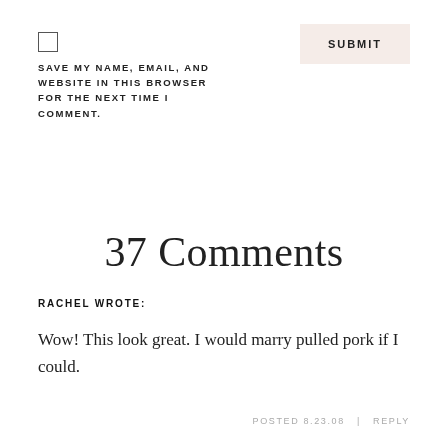SAVE MY NAME, EMAIL, AND WEBSITE IN THIS BROWSER FOR THE NEXT TIME I COMMENT.
37 Comments
RACHEL WROTE:
Wow! This look great. I would marry pulled pork if I could.
POSTED 8.23.08  |  REPLY